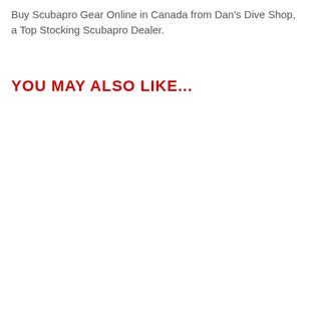Buy Scubapro Gear Online in Canada from Dan's Dive Shop, a Top Stocking Scubapro Dealer.
YOU MAY ALSO LIKE...